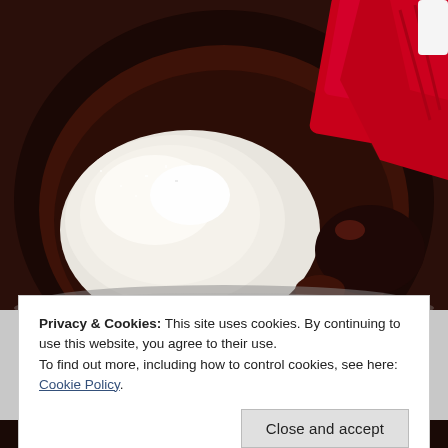[Figure (photo): Overhead view of a dark mixing bowl containing melted dark chocolate mixture and a mound of white sugar, with a red silicone spatula visible in the upper right corner.]
Privacy & Cookies: This site uses cookies. By continuing to use this website, you agree to their use.
To find out more, including how to control cookies, see here: Cookie Policy
Close and accept